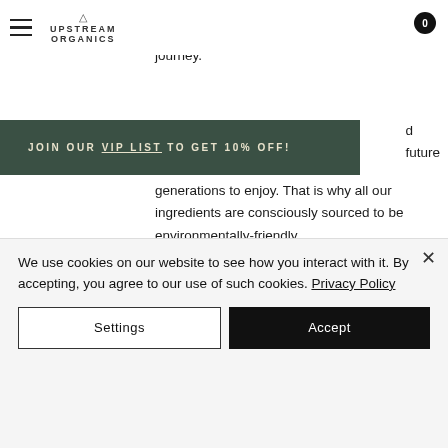Upstream Organics — navigation header with hamburger menu, logo, and cart badge (0)
people and their pets the opportunity to take that first proactive step in their wellness journey.
JOIN OUR VIP LIST TO GET 10% OFF!
future generations to enjoy. That is why all our ingredients are consciously sourced to be environmentally-friendly.
[Figure (illustration): Handwritten signature reading 'Brittney & Connor']
We use cookies on our website to see how you interact with it. By accepting, you agree to our use of such cookies. Privacy Policy
Settings
Accept